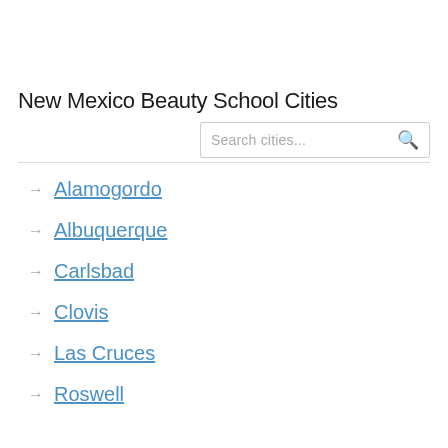New Mexico Beauty School Cities
Alamogordo
Albuquerque
Carlsbad
Clovis
Las Cruces
Roswell